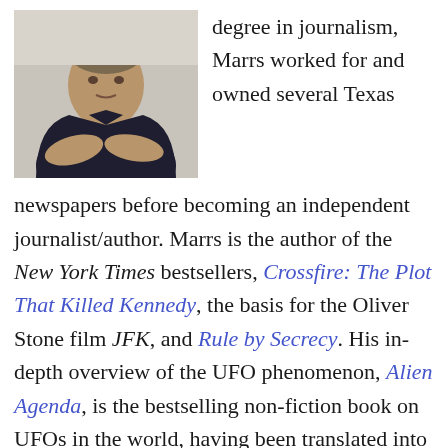[Figure (photo): Photo of Jim Marrs, a man sitting with hands clasped, wearing a dark shirt]
degree in journalism, Marrs worked for and owned several Texas newspapers before becoming an independent journalist/author. Marrs is the author of the New York Times bestsellers, Crossfire: The Plot That Killed Kennedy, the basis for the Oliver Stone film JFK, and Rule by Secrecy. His in-depth overview of the UFO phenomenon, Alien Agenda, is the bestselling non-fiction book on UFOs in the world, having been translated into several foreign languages. He is a frequent guest on several nationwide radio talk-show programs and television programs. You can find more about Jim on his website at jimmarrs.com.